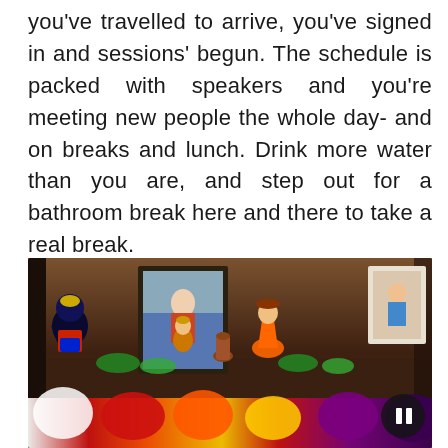you've travelled to arrive, you've signed in and sessions' begun. The schedule is packed with speakers and you're meeting new people the whole day- and on breaks and lunch. Drink more water than you are, and step out for a bathroom break here and there to take a real break.
[Figure (photo): A decorative table display with colorful folk art dolls, ceramic figurines, framed photographs, and large paper flowers in white, red, orange, yellow, and purple. A circular dark button/icon overlay appears in the bottom right corner.]